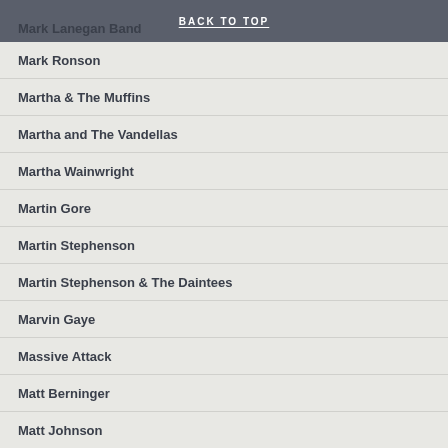BACK TO TOP
Mark Lanegan Band
Mark Ronson
Martha & The Muffins
Martha and The Vandellas
Martha Wainwright
Martin Gore
Martin Stephenson
Martin Stephenson & The Daintees
Marvin Gaye
Massive Attack
Matt Berninger
Matt Johnson
Maximo Park